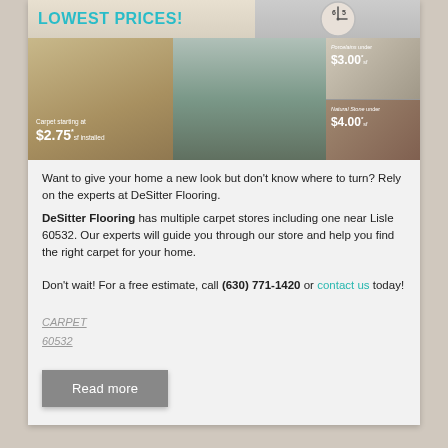[Figure (photo): Flooring advertisement banner showing 'LOWEST PRICES!' text in teal, a clock on the right side, and flooring product photos including carpet starting at $2.75/sf installed, a couple sitting on carpet with a dog, porcelains under $3.00/sf, and natural stone under $4.00/sf]
Want to give your home a new look but don't know where to turn? Rely on the experts at DeSitter Flooring. DeSitter Flooring has multiple carpet stores including one near Lisle 60532. Our experts will guide you through our store and help you find the right carpet for your home.
Don't wait! For a free estimate, call (630) 771-1420 or contact us today!
CARPET
60532
Read more